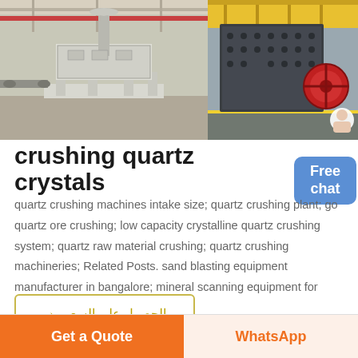[Figure (photo): Two industrial crushing machines in a factory setting. Left image shows a white vertical shaft impact crusher on a grey factory floor. Right image shows a large dark grey impact crusher with a red flywheel in an industrial warehouse.]
crushing quartz crystals
quartz crushing machines intake size; quartz crushing plant; go quartz ore crushing; low capacity crystalline quartz crushing system; quartz raw material crushing; quartz crushing machineries; Related Posts. sand blasting equipment manufacturer in bangalore; mineral scanning equipment for sale;
→ الحصول على السعر
Get a Quote
WhatsApp